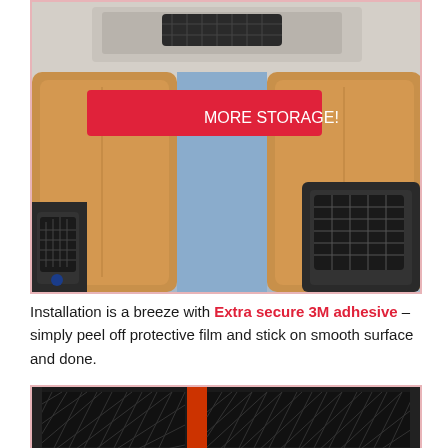[Figure (photo): Car interior photo showing storage net organizers attached to vehicle surfaces — one on the ceiling/overhead console area and two on the back of car seats/door panels. A bold red banner overlay reads MORE STORAGE!]
Installation is a breeze with Extra secure 3M adhesive – simply peel off protective film and stick on smooth surface and done.
[Figure (photo): Close-up photo of a black mesh/net car organizer with red frame border, showing the diamond-pattern elastic net material and black plastic frame detail.]